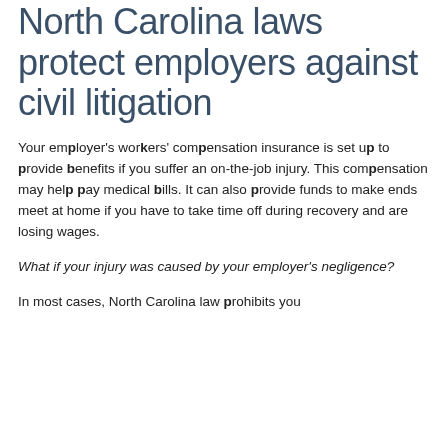North Carolina laws protect employers against civil litigation
Your employer's workers' compensation insurance is set up to provide benefits if you suffer an on-the-job injury. This compensation may help pay medical bills. It can also provide funds to make ends meet at home if you have to take time off during recovery and are losing wages.
What if your injury was caused by your employer's negligence?
In most cases, North Carolina law prohibits you